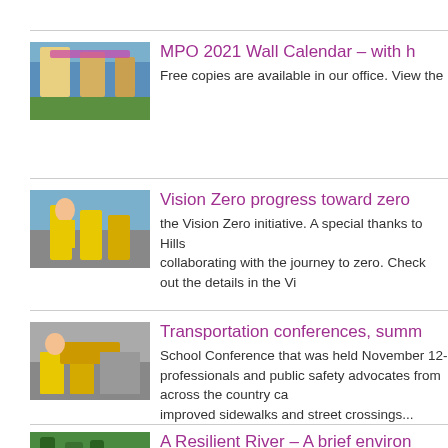[Figure (photo): Outdoor construction or festival scene with banners]
MPO 2021 Wall Calendar – with h
Free copies are available in our office. View the
[Figure (photo): People in yellow safety vests on a street]
Vision Zero progress toward zero
the Vision Zero initiative. A special thanks to Hills collaborating with the journey to zero. Check out the details in the Vi
[Figure (photo): Workers in safety vests at an outdoor table]
Transportation conferences, summ
School Conference that was held November 12- professionals and public safety advocates from across the country ca improved sidewalks and street crossings...
[Figure (photo): Green trees/forest scene]
A Resilient River – A brief environ